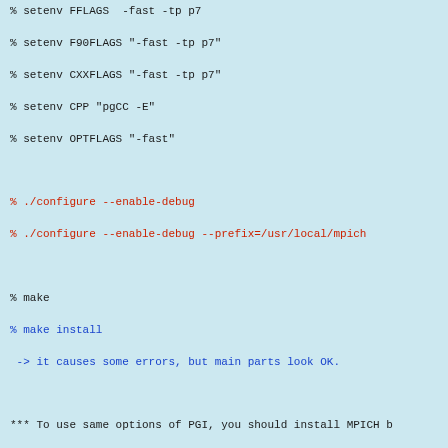% setenv FFLAGS  -fast -tp p7
% setenv F90FLAGS "-fast -tp p7"
% setenv CXXFLAGS "-fast -tp p7"
% setenv CPP "pgCC -E"
% setenv OPTFLAGS "-fast"

% ./configure --enable-debug
% ./configure --enable-debug --prefix=/usr/local/mpich

% make
% make install
 -> it causes some errors, but main parts look OK.

*** To use same options of PGI, you should install MPICH b

You need followings
1. machine.LINUX in $MPIDIR/util/machine
  --> But, I don't know whether is is really effective or n
2. activate rsh service.
  --> in /etc/xinetd.d/rsh, "disable=no"  But, it causes se
  So,
  --> in /etc/xinetd.d/rsh, "disable=no"
  # service xinetd restart
  But, it causes serious security hole. So,
3. make a permission to use rsh.
  a. Use iptables
    # iptables -L (check current status)
      You need to add your IP to be accepted as well as "lo
    # iptables -I INPUT -p udp -s fuyu.ucsd.edu -j ACCEPT
    # iptables -I INPUT -p tcp -s fuyu.ucsd.edu -j ACCEPT